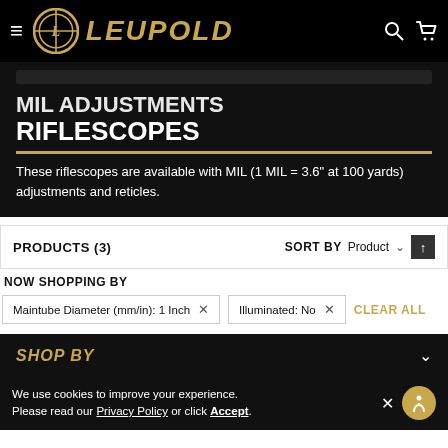LEUPOLD — Navigation bar with hamburger menu, logo, search and cart icons
MIL ADJUSTMENTS RIFLESCOPES
These riflescopes are available with MIL (1 MIL = 3.6" at 100 yards) adjustments and reticles.
PRODUCTS (3)
SORT BY  Product
NOW SHOPPING BY
Maintube Diameter (mm/in): 1 Inch  ×    Illuminated: No  ×    CLEAR ALL
SHOP BY
We use cookies to improve your experience. Please read our Privacy Policy or click Accept.